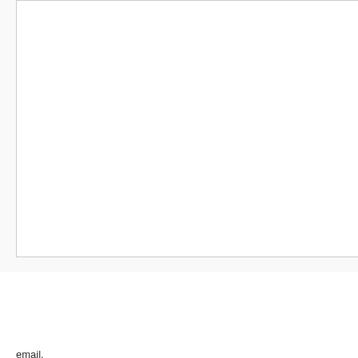Email *
Website
Notify comment
Notify
email.
Post Comment
← MS Preprint: Women Authors in OED
Search
RECENT POSTS
Another Review of The Life of Words
Two reviews of The Life of Words
Christmas Dinner
CATEGO
Criticism
Digital Humani
Etymology
Language and L